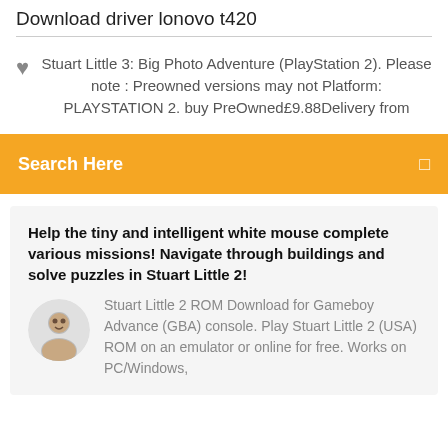Download driver lonovo t420
Stuart Little 3: Big Photo Adventure (PlayStation 2). Please note : Preowned versions may not Platform: PLAYSTATION 2. buy PreOwned£9.88Delivery from
Search Here
Help the tiny and intelligent white mouse complete various missions! Navigate through buildings and solve puzzles in Stuart Little 2!
Stuart Little 2 ROM Download for Gameboy Advance (GBA) console. Play Stuart Little 2 (USA) ROM on an emulator or online for free. Works on PC/Windows,